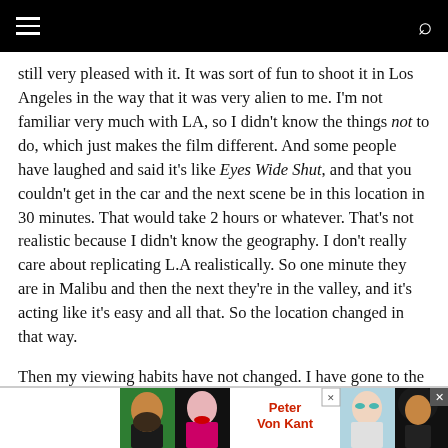≡  🔍
still very pleased with it. It was sort of fun to shoot it in Los Angeles in the way that it was very alien to me. I'm not familiar very much with LA, so I didn't know the things not to do, which just makes the film different. And some people have laughed and said it's like Eyes Wide Shut, and that you couldn't get in the car and the next scene be in this location in 30 minutes. That would take 2 hours or whatever. That's not realistic because I didn't know the geography. I don't really care about replicating L.A realistically. So one minute they are in Malibu and then the next they're in the valley, and it's acting like it's easy and all that. So the location changed in that way.
Then my viewing habits have not changed. I have gone to the theater a little less, but that's just because of having children. We tend to go play sports more than go to the movies now. Yeah, I watched Carlos last night. That's the most recent thing I saw. I'd never seen that [Olivier] Assayas film.
[Figure (advertisement): Peter Von Kant advertisement banner with colorful portrait images on left and right, red bold text 'Peter Von Kant' in center, close button on right]